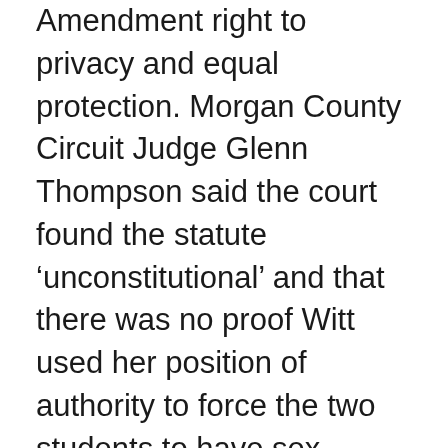Amendment right to privacy and equal protection. Morgan County Circuit Judge Glenn Thompson said the court found the statute ‘unconstitutional’ and that there was no proof Witt used her position of authority to force the two students to have sex.
The judge noted that Alabama state law allows students to legally have sex at age 16, as long as someone doesn’t use their position of authority to obtain that consent. Prosecutors filed an appeal and the Alabama Court of